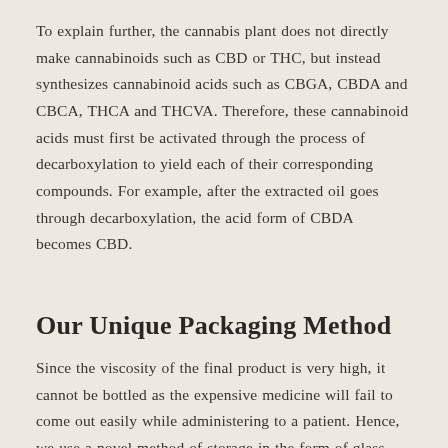To explain further, the cannabis plant does not directly make cannabinoids such as CBD or THC, but instead synthesizes cannabinoid acids such as CBGA, CBDA and CBCA, THCA and THCVA. Therefore, these cannabinoid acids must first be activated through the process of decarboxylation to yield each of their corresponding compounds. For example, after the extracted oil goes through decarboxylation, the acid form of CBDA becomes CBD.
Our Unique Packaging Method
Since the viscosity of the final product is very high, it cannot be bottled as the expensive medicine will fail to come out easily while administering to a patient. Hence, we use a novel method of storage in the form of glass